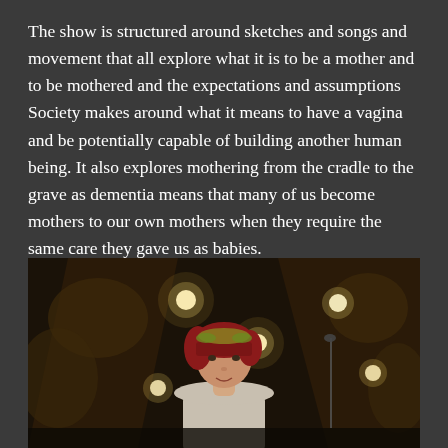The show is structured around sketches and songs and movement that all explore what it is to be a mother and to be mothered and the expectations and assumptions Society makes around what it means to have a vagina and be potentially capable of building another human being. It also explores mothering from the cradle to the grave as dementia means that many of us become mothers to our own mothers when they require the same care they gave us as babies.
[Figure (photo): A performer with red hair wearing a decorative headpiece stands on a stage with theatrical lighting. Stage set panels and warm glowing bulbs are visible in the background. A microphone stand is partially visible to the right.]